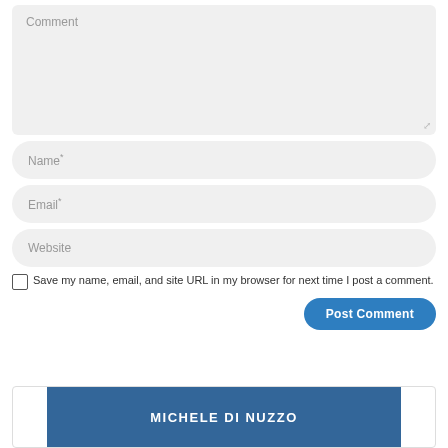Comment
Name*
Email*
Website
Save my name, email, and site URL in my browser for next time I post a comment.
Post Comment
[Figure (other): A blue banner/header element with bold white uppercase text reading MICHELE DI NUZZO]